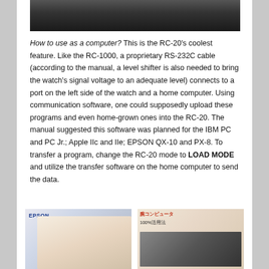[Figure (photo): Top portion of a dark electronic device photo, cropped at top]
How to use as a computer? This is the RC-20's coolest feature. Like the RC-1000, a proprietary RS-232C cable (according to the manual, a level shifter is also needed to bring the watch's signal voltage to an adequate level) connects to a port on the left side of the watch and a home computer. Using communication software, one could supposedly upload these programs and even home-grown ones into the RC-20. The manual suggested this software was planned for the IBM PC and PC Jr.; Apple IIc and IIe; EPSON QX-10 and PX-8. To transfer a program, change the RC-20 mode to LOAD MODE and utilize the transfer software on the home computer to send the data.
[Figure (photo): Left image: EPSON branded photo showing a woman with a watch/device. Right image: Japanese book cover with text and photos.]